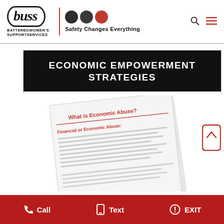[Figure (logo): BWSS logo with italic 'buss' text in oval border, tagline 'BATTERED WOMEN'S SUPPORT SERVICES', vertical red divider, three circles (two dark, one red), and slogan 'Safety Changes Everything']
ECONOMIC EMPOWERMENT STRATEGIES
This curriculum is designed to support women assessing and redressing the impact of
[Figure (photo): Document page titled 'What is Economic Abuse?' with subtitle 'Financial or Economic Abuse' and bullet point text, photographed at an angle]
Call  Text  EXIT